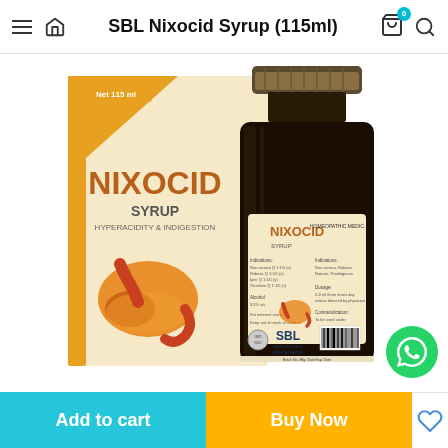SBL Nixocid Syrup (115ml)
[Figure (photo): SBL Nixocid Syrup 115ml product image showing the box packaging and the dark amber glass bottle with gold cap. Box displays NIXOCID SYRUP HYPERACIDITY & INDIGESTION with a stomach illustration. Bottle shows label with NIXOCID SYRUP, SBL Homeopathic Medicine, ingredients, dosage, and barcode.]
Add to cart
Buy Now